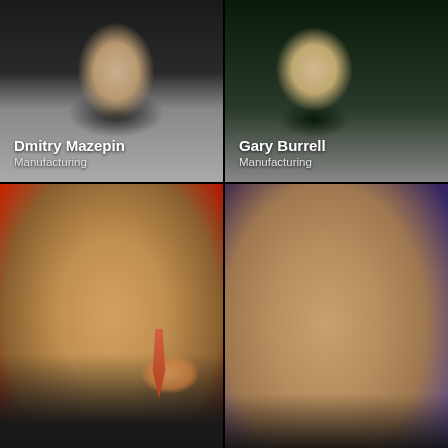[Figure (photo): Photo of Dmitry Mazepin, Manufacturing industry executive, shown in upper left card]
Dmitry Mazepin
Manufacturing
[Figure (photo): Photo of Gary Burrell, Manufacturing industry executive, shown in upper right card]
Gary Burrell
Manufacturing
[Figure (photo): Photo of Chen Jianhua, Manufacturing industry executive, shown in middle left large card with red background]
Chen Jianhua
Manufacturing
[Figure (photo): Photo of James Ratcliffe, Manufacturing industry executive, shown in middle right large card with purple background]
James Ratcliffe
Manufacturing
[Figure (photo): Bottom left card showing Starkey Hearing Foundation logo and partial photo of a person]
[Figure (photo): Bottom right card showing partial photos of people]